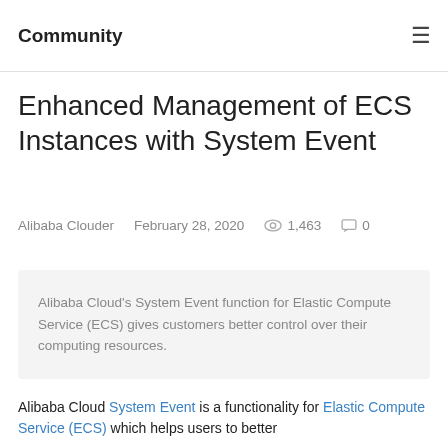Community
Enhanced Management of ECS Instances with System Event
Alibaba Clouder    February 28, 2020    1,463    0
Alibaba Cloud's System Event function for Elastic Compute Service (ECS) gives customers better control over their computing resources.
Alibaba Cloud System Event is a functionality for Elastic Compute Service (ECS) which helps users to better